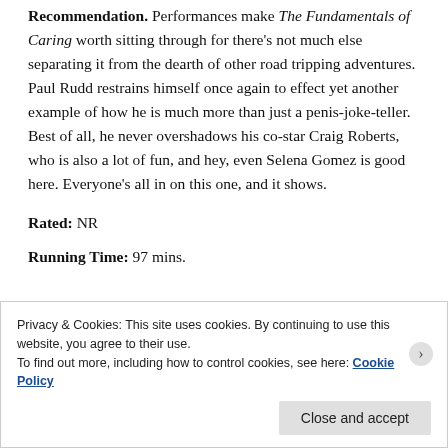Recommendation. Performances make The Fundamentals of Caring worth sitting through for there's not much else separating it from the dearth of other road tripping adventures. Paul Rudd restrains himself once again to effect yet another example of how he is much more than just a penis-joke-teller. Best of all, he never overshadows his co-star Craig Roberts, who is also a lot of fun, and hey, even Selena Gomez is good here. Everyone's all in on this one, and it shows.
Rated: NR
Running Time: 97 mins.
Privacy & Cookies: This site uses cookies. By continuing to use this website, you agree to their use.
To find out more, including how to control cookies, see here: Cookie Policy